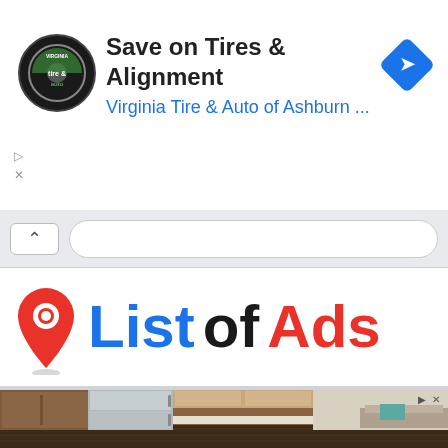[Figure (screenshot): Advertisement banner for Virginia Tire & Auto of Ashburn with tire logo icon and blue arrow navigation icon]
Save on Tires & Alignment
Virginia Tire & Auto of Ashburn ...
[Figure (screenshot): Browser navigation bar with up chevron and URL bar]
[Figure (logo): List of Ads logo with red map pin icon, blue 'List', black 'of', and red 'Ads' text]
[Figure (photo): Advertisement photo showing a modern hotel room kitchenette with stainless steel refrigerator, wood cabinets, and seating area]